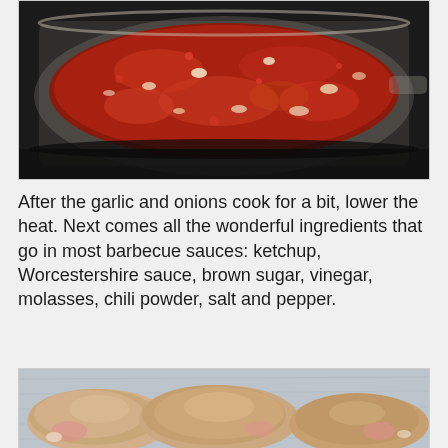[Figure (photo): Close-up photo of a frying pan on a stovetop containing a thick red barbecue sauce mixture with visible chunks of onion, garlic, and spices simmering and bubbling.]
After the garlic and onions cook for a bit, lower the heat. Next comes all the wonderful ingredients that go in most barbecue sauces: ketchup, Worcestershire sauce, brown sugar, vinegar, molasses, chili powder, salt and pepper.
[Figure (photo): Photo of raw chicken pieces laid out on a foil-lined baking sheet, ready to be cooked.]